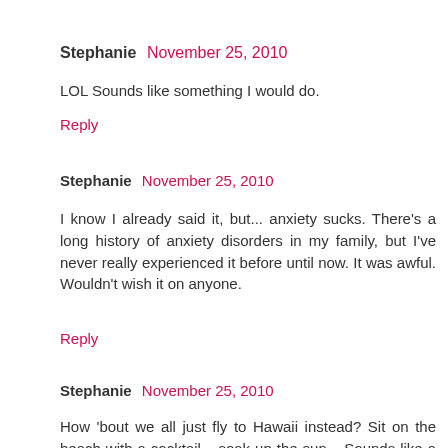Stephanie  November 25, 2010
LOL Sounds like something I would do.
Reply
Stephanie  November 25, 2010
I know I already said it, but... anxiety sucks. There's a long history of anxiety disorders in my family, but I've never really experienced it before until now. It was awful. Wouldn't wish it on anyone.
Reply
Stephanie  November 25, 2010
How 'bout we all just fly to Hawaii instead? Sit on the beach with a cocktail... soak up the sun... Sounds like a new tradition I can really get behind. Now to find someone to fund it...